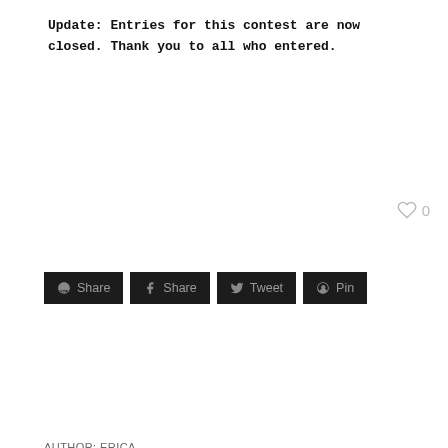Update: Entries for this contest are now closed. Thank you to all who entered.
♡ 0
g+ Share  f Share  𝕥 Tweet  𝑝 Pin
AUTHOR: ERICA
FILED UNDER:  RECENT POSTS
TAGGED WITH: friends, events, contests and giveaways
IMPORTANT STUFF: AFFILIATE DISCLOSURE
about erica
[Figure (photo): Circular portrait photo of Erica]